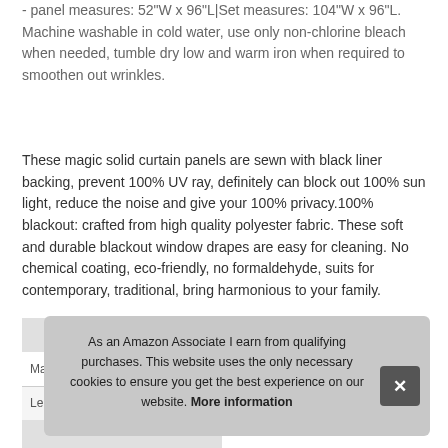- panel measures: 52"W x 96"L|Set measures: 104"W x 96"L. Machine washable in cold water, use only non-chlorine bleach when needed, tumble dry low and warm iron when required to smoothen out wrinkles.
These magic solid curtain panels are sewn with black liner backing, prevent 100% UV ray, definitely can block out 100% sun light, reduce the noise and give your 100% privacy.100% blackout: crafted from high quality polyester fabric. These soft and durable blackout window drapes are easy for cleaning. No chemical coating, eco-friendly, no formaldehyde, suits for contemporary, traditional, bring harmonious to your family.
|  |  |
| --- | --- |
| Ma |  |
| Length | 15 Inches |
As an Amazon Associate I earn from qualifying purchases. This website uses the only necessary cookies to ensure you get the best experience on our website. More information